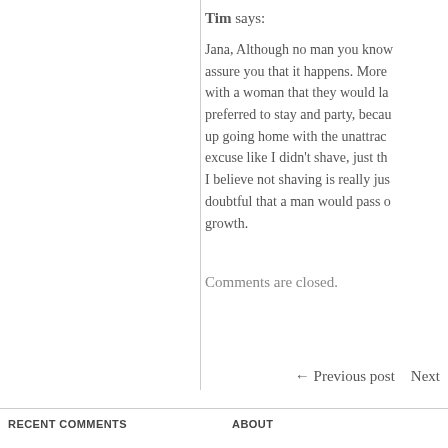Tim says:
Jana, Although no man you know would assure you that it happens. More with a woman that they would la preferred to stay and party, becau up going home with the unattrac excuse like I didn't shave, just th I believe not shaving is really jus doubtful that a man would pass o growth.
Comments are closed.
← Previous post   Next
RECENT COMMENTS
ABOUT